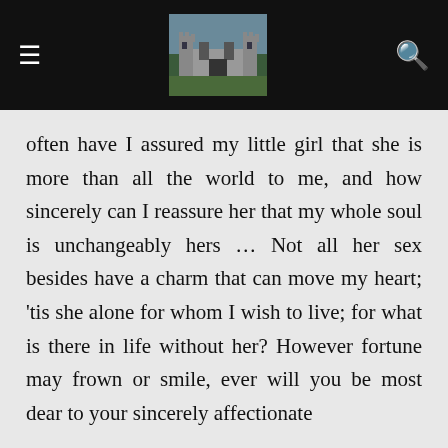≡ [castle logo] 🔍
often have I assured my little girl that she is more than all the world to me, and how sincerely can I reassure her that my whole soul is unchangeably hers … Not all her sex besides have a charm that can move my heart; 'tis she alone for whom I wish to live; for what is there in life without her? However fortune may frown or smile, ever will you be most dear to your sincerely affectionate
J. Eccles
Tuesday even: Dec. 21, 1779.